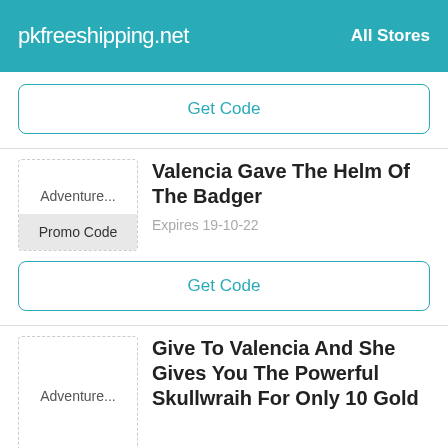pkfreeshipping.net   All Stores
Get Code
[Figure (other): Coupon card with store label 'Adventure...' and promo code label, title 'Valencia Gave The Helm Of The Badger', expires 19-10-22]
Get Code
[Figure (other): Coupon card with store label 'Adventure...' and title 'Give To Valencia And She Gives You The Powerful Skullwraih For Only 10 Gold']